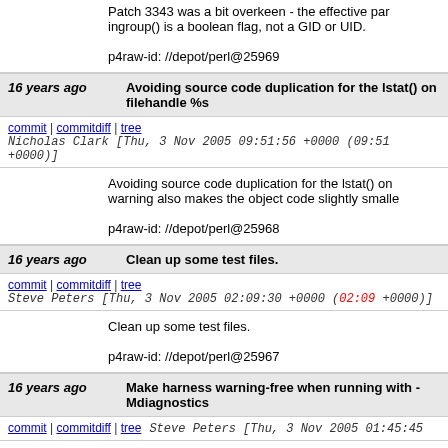Patch 3343 was a bit overkeen - the effective parameter to ingroup() is a boolean flag, not a GID or UID.

p4raw-id: //depot/perl@25969
16 years ago   Avoiding source code duplication for the lstat() on filehandle %s
commit | commitdiff | tree   Nicholas Clark [Thu, 3 Nov 2005 09:51:56 +0000 (09:51 +0000)]
Avoiding source code duplication for the lstat() on warning also makes the object code slightly smaller

p4raw-id: //depot/perl@25968
16 years ago   Clean up some test files.
commit | commitdiff | tree   Steve Peters [Thu, 3 Nov 2005 02:09:30 +0000 (02:09 +0000)]
Clean up some test files.

p4raw-id: //depot/perl@25967
16 years ago   Make harness warning-free when running with -Mdiagnostics
commit | commitdiff | tree   Steve Peters [Thu, 3 Nov 2005 01:45:45